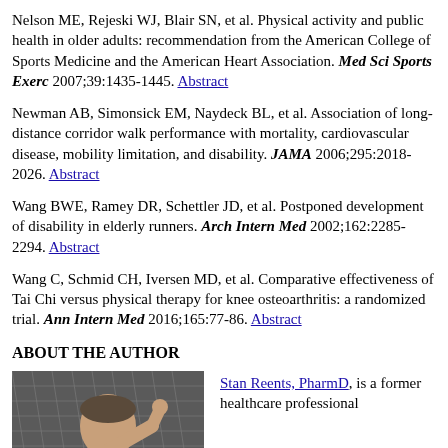Nelson ME, Rejeski WJ, Blair SN, et al. Physical activity and public health in older adults: recommendation from the American College of Sports Medicine and the American Heart Association. Med Sci Sports Exerc 2007;39:1435-1445. Abstract
Newman AB, Simonsick EM, Naydeck BL, et al. Association of long-distance corridor walk performance with mortality, cardiovascular disease, mobility limitation, and disability. JAMA 2006;295:2018-2026. Abstract
Wang BWE, Ramey DR, Schettler JD, et al. Postponed development of disability in elderly runners. Arch Intern Med 2002;162:2285-2294. Abstract
Wang C, Schmid CH, Iversen MD, et al. Comparative effectiveness of Tai Chi versus physical therapy for knee osteoarthritis: a randomized trial. Ann Intern Med 2016;165:77-86. Abstract
ABOUT THE AUTHOR
[Figure (photo): Photo of Stan Reents, PharmD, an older adult male in a white t-shirt, appears to be outdoors near a fence.]
Stan Reents, PharmD, is a former healthcare professional